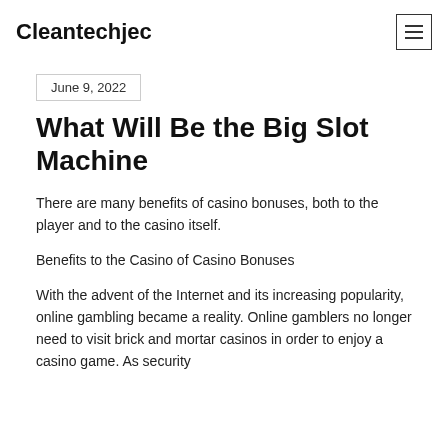Cleantechjec
June 9, 2022
What Will Be the Big Slot Machine
There are many benefits of casino bonuses, both to the player and to the casino itself.
Benefits to the Casino of Casino Bonuses
With the advent of the Internet and its increasing popularity, online gambling became a reality. Online gamblers no longer need to visit brick and mortar casinos in order to enjoy a casino game. As security